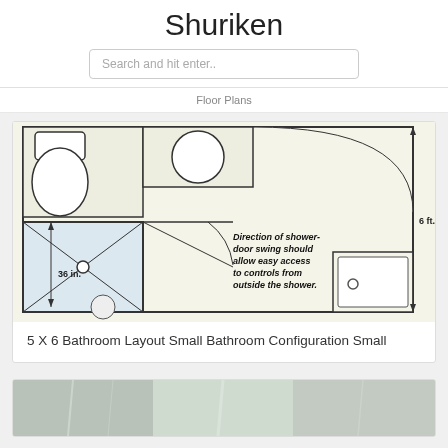Shuriken
Search and hit enter..
Floor Plans
[Figure (engineering-diagram): Bathroom floor plan showing shower stall with 36 in. dimension marked vertically, 6 ft. dimension marked horizontally on the right. Labels read: 'Direction of shower-door swing should allow easy access to controls from outside the shower.' Shows toilet, sink, and shower layout with diagonal lines indicating door swing.]
5 X 6 Bathroom Layout Small Bathroom Configuration Small